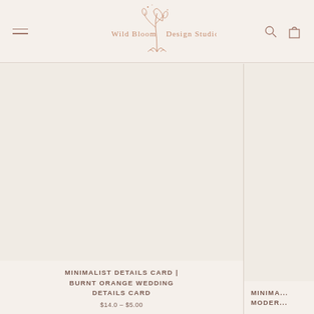Wild Bloom Design Studio
[Figure (logo): Wild Bloom Design Studio logo with floral and moon illustration in rose/terracotta color]
MINIMALIST DETAILS CARD | BURNT ORANGE WEDDING DETAILS CARD
MINIMA... MODER...